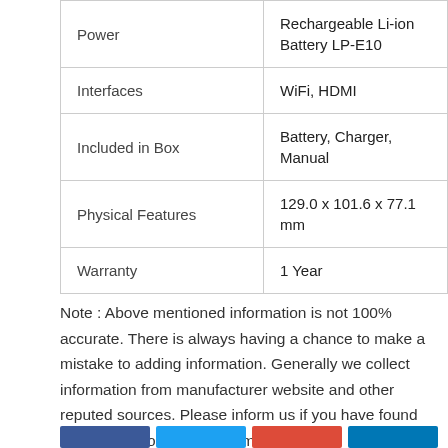| Power | Rechargeable Li-ion Battery LP-E10 |
| Interfaces | WiFi, HDMI |
| Included in Box | Battery, Charger, Manual |
| Physical Features | 129.0 x 101.6 x 77.1 mm |
| Warranty | 1 Year |
Note : Above mentioned information is not 100% accurate. There is always having a chance to make a mistake to adding information. Generally we collect information from manufacturer website and other reputed sources. Please inform us if you have found any mistake or wrong information.